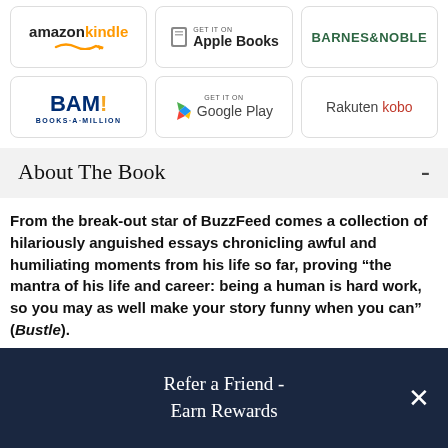[Figure (logo): Amazon Kindle retailer logo button]
[Figure (logo): Apple Books retailer logo button]
[Figure (logo): Barnes & Noble retailer logo button]
[Figure (logo): BAM! Books-A-Million retailer logo button]
[Figure (logo): Google Play retailer logo button]
[Figure (logo): Rakuten Kobo retailer logo button]
About The Book
From the break-out star of BuzzFeed comes a collection of hilariously anguished essays chronicling awful and humiliating moments from his life so far, proving “the mantra of his life and career: being a human is hard work, so you may as well make your story funny when you can” (Bustle).
Refer a Friend - Earn Rewards